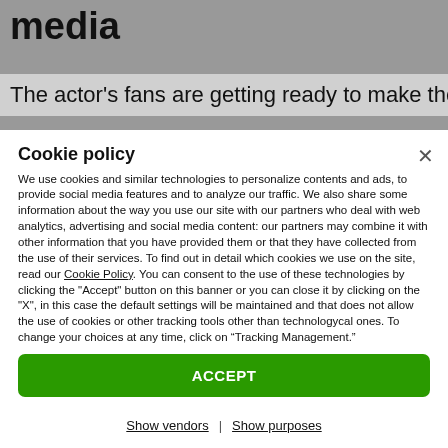media
The actor's fans are getting ready to make the first
Cookie policy
We use cookies and similar technologies to personalize contents and ads, to provide social media features and to analyze our traffic. We also share some information about the way you use our site with our partners who deal with web analytics, advertising and social media content: our partners may combine it with other information that you have provided them or that they have collected from the use of their services. To find out in detail which cookies we use on the site, read our Cookie Policy. You can consent to the use of these technologies by clicking the "Accept" button on this banner or you can close it by clicking on the "X", in this case the default settings will be maintained and that does not allow the use of cookies or other tracking tools other than technologycal ones. To change your choices at any time, click on “Tracking Management.”
ACCEPT
TRACKERS MANAGEMENT
Show vendors | Show purposes